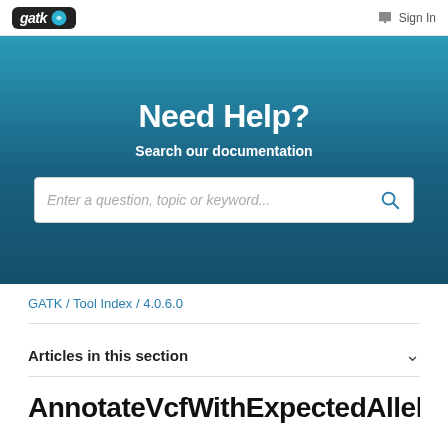gatk [logo] / Sign In
Need Help?
Search our documentation
Enter a question, topic or keyword...
GATK / Tool Index / 4.0.6.0
Articles in this section
AnnotateVcfWithExpectedAlleleFr...